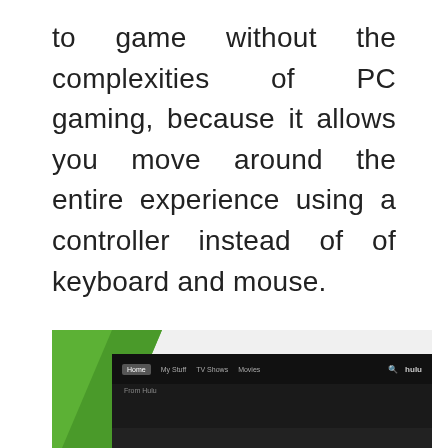to game without the complexities of PC gaming, because it allows you move around the entire experience using a controller instead of of keyboard and mouse.
More so, software updates install quickly and lets you get back to gaming or watching your favorite TV shows and movies.
[Figure (screenshot): Screenshot of Hulu app interface showing navigation bar with Home, My Stuff, TV Shows, Movies tabs and Hulu logo on dark background with green branding element on left]